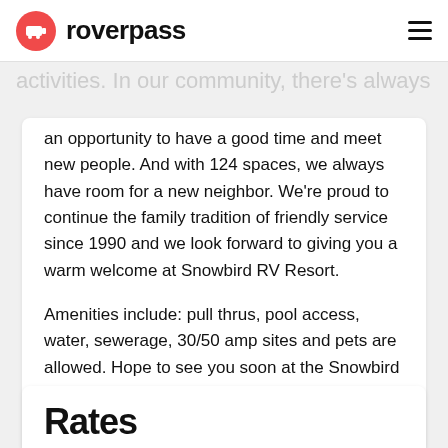roverpass
course, a solar heated pool, and plenty of regular activities. In our community, there's always an opportunity to have a good time and meet new people. And with 124 spaces, we always have room for a new neighbor. We're proud to continue the family tradition of friendly service since 1990 and we look forward to giving you a warm welcome at Snowbird RV Resort.
Amenities include: pull thrus, pool access, water, sewerage, 30/50 amp sites and pets are allowed. Hope to see you soon at the Snowbird RV Park!
Last Updated: 07/16/2021
Rates